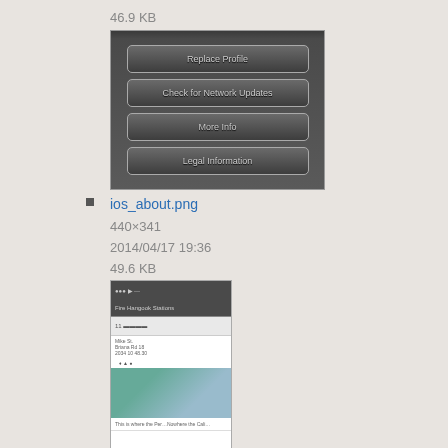46.9 KB
[Figure (screenshot): iOS About screen showing buttons: Replace Profile, Check for Network Updates, More Info, Legal Information]
ios_about.png
440×341
2014/04/17 19:36
49.6 KB
[Figure (screenshot): iOS detailed view screenshot showing a property listing with map image]
ios_detailed_view.png
640×1136
2014/09/24 16:53
298.7 KB
[Figure (screenshot): iOS filter/settings screen showing filtering options with red items]